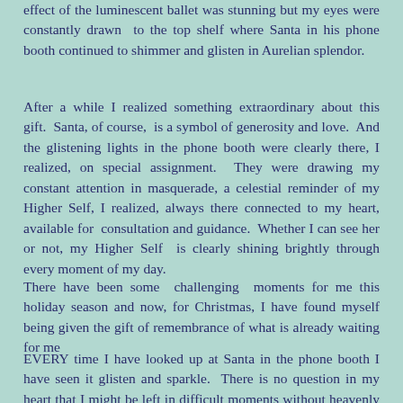effect of the luminescent ballet was stunning but my eyes were constantly drawn to the top shelf where Santa in his phone booth continued to shimmer and glisten in Aurelian splendor.
After a while I realized something extraordinary about this gift. Santa, of course, is a symbol of generosity and love. And the glistening lights in the phone booth were clearly there, I realized, on special assignment. They were drawing my constant attention in masquerade, a celestial reminder of my Higher Self, I realized, always there connected to my heart, available for consultation and guidance. Whether I can see her or not, my Higher Self is clearly shining brightly through every moment of my day.
There have been some challenging moments for me this holiday season and now, for Christmas, I have found myself being given the gift of remembrance of what is already waiting for me
EVERY time I have looked up at Santa in the phone booth I have seen it glisten and sparkle. There is no question in my heart that I might be left in difficult moments without heavenly recourse and